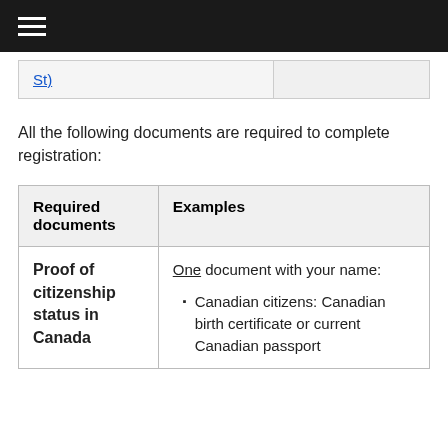≡ (hamburger menu)
| St) |  |
All the following documents are required to complete registration:
| Required documents | Examples |
| --- | --- |
| Proof of citizenship status in Canada | One document with your name:
• Canadian citizens: Canadian birth certificate or current Canadian passport |